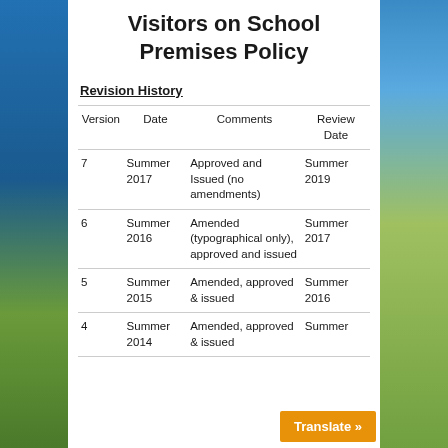Visitors on School Premises Policy
Revision History
| Version | Date | Comments | Review Date |
| --- | --- | --- | --- |
| 7 | Summer 2017 | Approved and Issued (no amendments) | Summer 2019 |
| 6 | Summer 2016 | Amended (typographical only), approved and issued | Summer 2017 |
| 5 | Summer 2015 | Amended, approved & issued | Summer 2016 |
| 4 | Summer 2014 | Amended, approved & issued | Summer |
Translate »